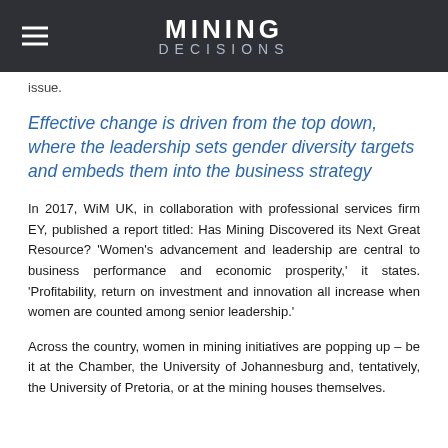MINING DECISIONS
issue.
Effective change is driven from the top down, where the leadership sets gender diversity targets and embeds them into the business strategy
In 2017, WiM UK, in collaboration with professional services firm EY, published a report titled: Has Mining Discovered its Next Great Resource? 'Women's advancement and leadership are central to business performance and economic prosperity,' it states. 'Profitability, return on investment and innovation all increase when women are counted among senior leadership.'
Across the country, women in mining initiatives are popping up – be it at the Chamber, the University of Johannesburg and, tentatively, the University of Pretoria, or at the mining houses themselves.